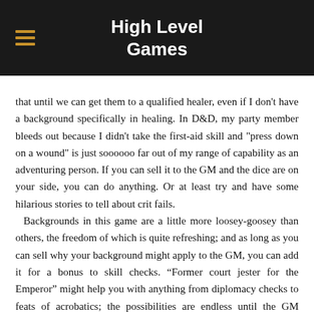High Level Games
that until we can get them to a qualified healer, even if I don't have a background specifically in healing. In D&D, my party member bleeds out because I didn't take the first-aid skill and "press down on a wound" is just soooooo far out of my range of capability as an adventuring person. If you can sell it to the GM and the dice are on your side, you can do anything. Or at least try and have some hilarious stories to tell about crit fails.  Backgrounds in this game are a little more loosey-goosey than others, the freedom of which is quite refreshing; and as long as you can sell why your background might apply to the GM, you can add it for a bonus to skill checks. “Former court jester for the Emperor” might help you with anything from diplomacy checks to feats of acrobatics; the possibilities are endless until the GM decides to rein you in. ;)